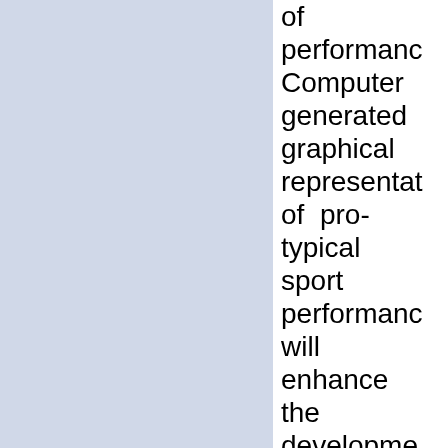of performance. Computer generated graphical representations of pro-typical sport performance will enhance the development of motor skills. Computers have also enabled researchers to better understand brain activity during